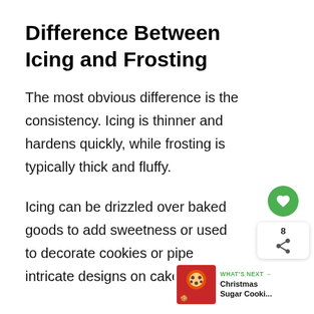Difference Between Icing and Frosting
The most obvious difference is the consistency. Icing is thinner and hardens quickly, while frosting is typically thick and fluffy.
Icing can be drizzled over baked goods to add sweetness or used to decorate cookies or pipe intricate designs on cakes.
[Figure (infographic): UI overlay with green heart/save button, share count of 8, share icon, and a 'What's Next' panel showing Christmas Sugar Cooki... with a thumbnail image of Christmas cookies]